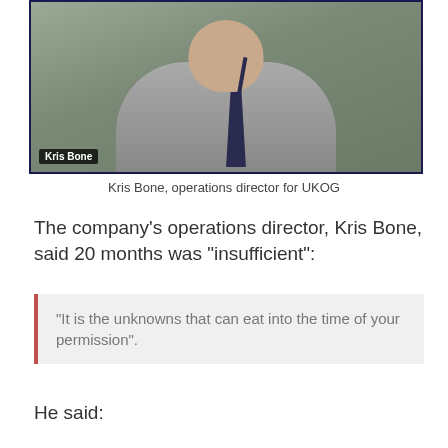[Figure (screenshot): Video screenshot of Kris Bone, operations director for UKOG, a man in a grey suit and dark tie sitting with hands clasped, with a name label 'Kris Bone' in the lower left corner of the video frame.]
Kris Bone, operations director for UKOG
The company’s operations director, Kris Bone, said 20 months was “insufficient”:
“It is the unknowns that can eat into the time of your permission”.
He said: